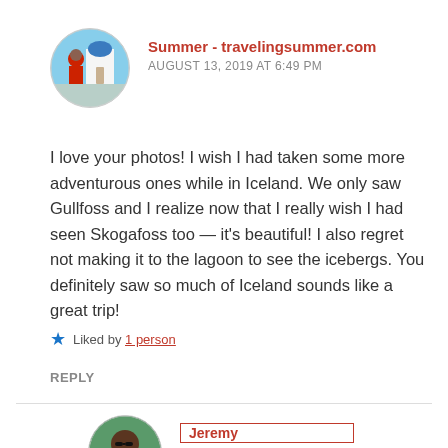[Figure (photo): Circular avatar photo of Summer, showing a person in front of a white building with blue domes (Santorini style)]
Summer - travelingsummer.com
AUGUST 13, 2019 AT 6:49 PM
I love your photos! I wish I had taken some more adventurous ones while in Iceland. We only saw Gullfoss and I realize now that I really wish I had seen Skogafoss too — it's beautiful! I also regret not making it to the lagoon to see the icebergs. You definitely saw so much of Iceland sounds like a great trip!
Liked by 1 person
REPLY
[Figure (photo): Circular avatar photo of Jeremy, showing a person with sunglasses outdoors with green background]
Jeremy
AUGUST 13, 2019 AT 9:24 PM